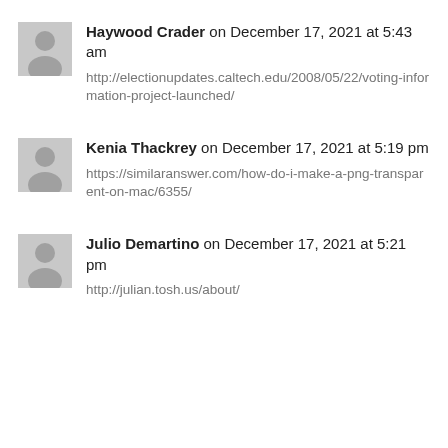Haywood Crader on December 17, 2021 at 5:43 am
http://electionupdates.caltech.edu/2008/05/22/voting-information-project-launched/
Kenia Thackrey on December 17, 2021 at 5:19 pm
https://similaranswer.com/how-do-i-make-a-png-transparent-on-mac/6355/
Julio Demartino on December 17, 2021 at 5:21 pm
http://julian.tosh.us/about/